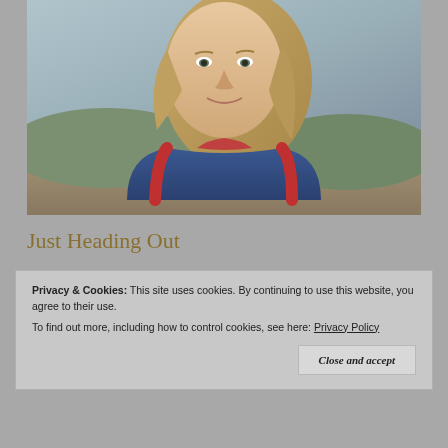[Figure (photo): Portrait photo of a young woman with long blonde hair, wearing a red backpack and denim jacket, smiling, with a river/lake landscape in the background.]
Just Heading Out
Privacy & Cookies: This site uses cookies. By continuing to use this website, you agree to their use.
To find out more, including how to control cookies, see here: Privacy Policy
Close and accept